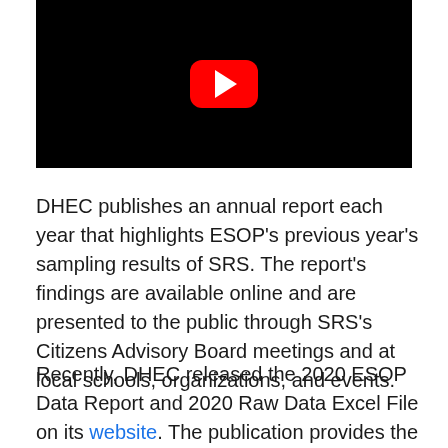[Figure (screenshot): YouTube video player thumbnail with black background and red YouTube play button icon in the center]
DHEC publishes an annual report each year that highlights ESOP’s previous year’s sampling results of SRS. The report’s findings are available online and are presented to the public through SRS’s Citizens Advisory Board meetings and at local schools, organizations, and events.
Recently, DHEC released the 2020 ESOP Data Report and 2020 Raw Data Excel File on its website. The publication provides the data collected by DHEC, displays